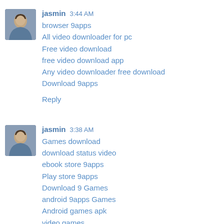[Figure (photo): Avatar photo of user jasmin - young woman]
jasmin 3:44 AM
browser 9apps
All video downloader for pc
Free video download
free video download app
Any video downloader free download
Download 9apps

Reply
[Figure (photo): Avatar photo of user jasmin - young woman]
jasmin 3:38 AM
Games download
download status video
ebook store 9apps
Play store 9apps
Download 9 Games
android 9apps Games
Android games apk
video games
Game for android